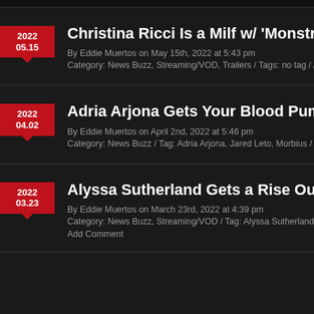2022 05.15 | Christina Ricci Is a Milf w/ 'Monstrous' Pr... | By Eddie Muertos on May 15th, 2022 at 5:43 pm | Category: News Buzz, Streaming/VOD, Trailers / Tags: no tag / Add Com...
2022 04.02 | Adria Arjona Gets Your Blood Pumping I... | By Eddie Muertos on April 2nd, 2022 at 5:46 pm | Category: News Buzz / Tag: Adria Arjona, Jared Leto, Morbius / 1 comme...
2022 03.23 | Alyssa Sutherland Gets a Rise Out of Us... | By Eddie Muertos on March 23rd, 2022 at 4:39 pm | Category: News Buzz, Streaming/VOD / Tag: Alyssa Sutherland, Demons... | Add Comment